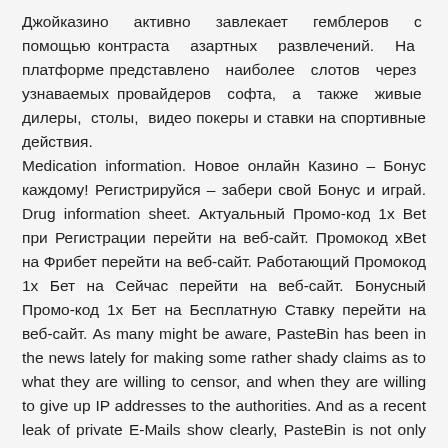Джойказино активно завлекает гемблеров с помощью контраста азартных развлечений. На платформе представлено наиболее слотов через узнаваемых провайдеров софта, а также живые дилеры, столы, видео покеры и ставки на спортивные действия. Medication information. Новое онлайн Казино – Бонус каждому! Регистрируйся – забери свой Бонус и играй. Drug information sheet. Актуальный Промо-код 1х Bet при Регистрации перейти на веб-сайт. Промокод хBet на Фрибет перейти на веб-сайт. Работающий Промокод 1х Бет на Сейчас перейти на веб-сайт. Бонусный Промо-код 1х Бет на Бесплатную Ставку перейти на веб-сайт. As many might be aware, PasteBin has been in the news lately for making some rather shady claims as to what they are willing to censor, and when they are willing to give up IP addresses to the authorities. And as a recent leak of private E-Mails show clearly, PasteBin is not only willing to give up IP addresses to governments – but apparently has already given many IPs to at least one private security firm.